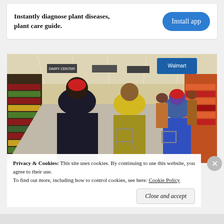Instantly diagnose plant diseases, plant care guide.
[Figure (other): Install app button (blue rounded rectangle)]
[Figure (photo): Interior of a Walmart store with shoppers pushing carts along the aisles, colorful products on shelves, ceiling lights visible.]
Privacy & Cookies: This site uses cookies. By continuing to use this website, you agree to their use.
To find out more, including how to control cookies, see here: Cookie Policy
Close and accept